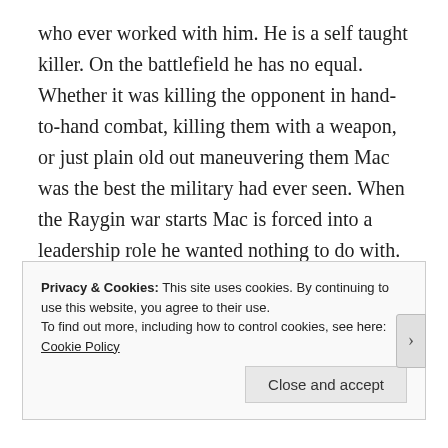who ever worked with him. He is a self taught killer. On the battlefield he has no equal. Whether it was killing the opponent in hand-to-hand combat, killing them with a weapon, or just plain old out maneuvering them Mac was the best the military had ever seen. When the Raygin war starts Mac is forced into a leadership role he wanted nothing to do with. Will Mac's experience and talent be enough to neutralize the alien invasion? All is not what it seems. Read the Raygin War to see if the human race will survive and remain free.
Privacy & Cookies: This site uses cookies. By continuing to use this website, you agree to their use.
To find out more, including how to control cookies, see here: Cookie Policy
Close and accept